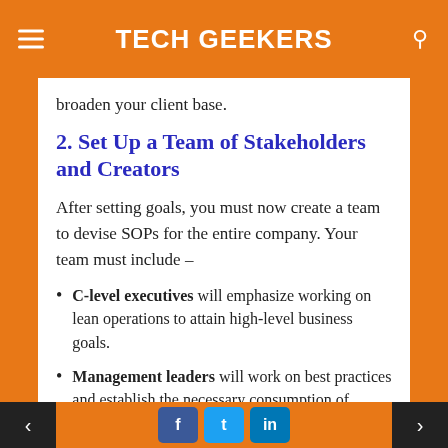TECH GEEKERS
broaden your client base.
2. Set Up a Team of Stakeholders and Creators
After setting goals, you must now create a team to devise SOPs for the entire company. Your team must include –
C-level executives will emphasize working on lean operations to attain high-level business goals.
Management leaders will work on best practices and establish the necessary consumption of resources and equipment.
< f t in >